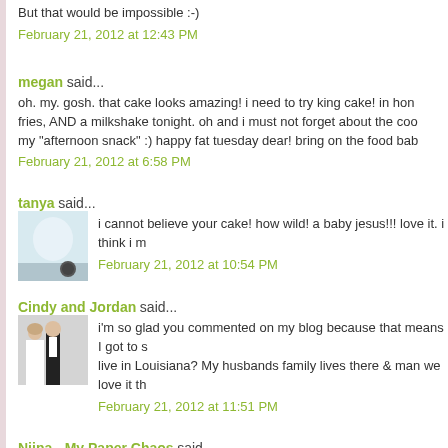But that would be impossible :-)
February 21, 2012 at 12:43 PM
megan said...
oh. my. gosh. that cake looks amazing! i need to try king cake! in hon fries, AND a milkshake tonight. oh and i must not forget about the coo my "afternoon snack" :) happy fat tuesday dear! bring on the food bab
February 21, 2012 at 6:58 PM
tanya said...
i cannot believe your cake! how wild! a baby jesus!!! love it. i think i m
February 21, 2012 at 10:54 PM
Cindy and Jordan said...
i'm so glad you commented on my blog because that means I got to s live in Louisiana? My husbands family lives there & man we love it th
February 21, 2012 at 11:51 PM
Niina - My Paper Chaos said...